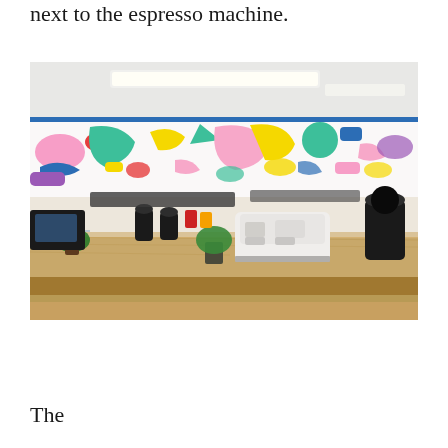next to the espresso machine.
[Figure (photo): Interior of a coffee shop featuring a colorful abstract mural on the wall with bright shapes in pink, yellow, teal, blue, and other colors. The counter/bar area shows an espresso machine, coffee grinders, a potted plant, and various coffee equipment on a wooden countertop.]
The...